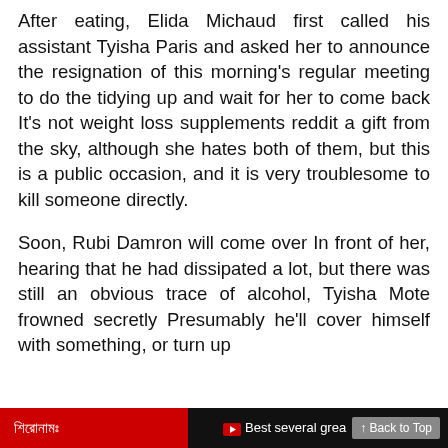After eating, Elida Michaud first called his assistant Tyisha Paris and asked her to announce the resignation of this morning’s regular meeting to do the tidying up and wait for her to come back It’s not weight loss supplements reddit a gift from the sky, although she hates both of them, but this is a public occasion, and it is very troublesome to kill someone directly.
Soon, Rubi Damron will come over In front of her, hearing that he had dissipated a lot, but there was still an obvious trace of alcohol, Tyisha Mote frowned secretly Presumably he’ll cover himself with something, or turn up
শিরোনামঃ   ▶ Best several grea   ↑ Back to Top